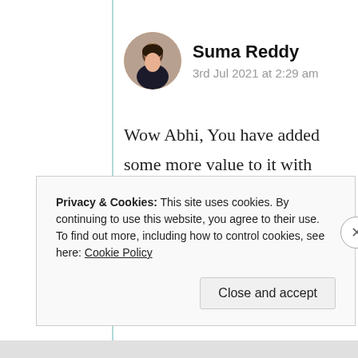[Figure (photo): Circular avatar photo of Suma Reddy, a woman with dark hair against a blurred background]
Suma Reddy
3rd Jul 2021 at 2:29 am
Wow Abhi, You have added some more value to it with your precious views n thoughts. Thank you very much. Have a good day 😇❤
★ Like
Log in to Reply
Privacy & Cookies: This site uses cookies. By continuing to use this website, you agree to their use.
To find out more, including how to control cookies, see here: Cookie Policy
Close and accept